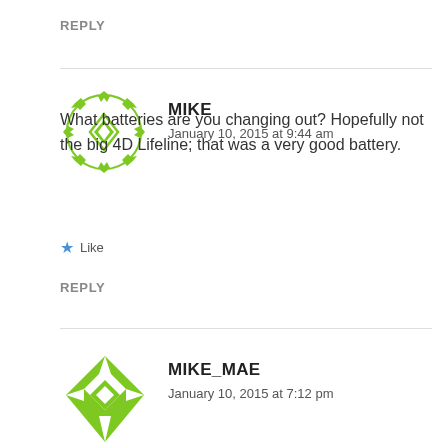REPLY
[Figure (illustration): Green circular avatar icon with a soccer-ball-like pattern made of green arrows pointing outward from a central diamond shape]
MIKE
January 10, 2015 at 9:44 am
What batteries are you changing out? Hopefully not the big 4D Lifeline; that was a very good battery.
Like
REPLY
[Figure (illustration): Green square/diamond avatar icon with a quilted geometric pattern in green and white, partially cut off at bottom of page]
MIKE_MAE
January 10, 2015 at 7:12 pm